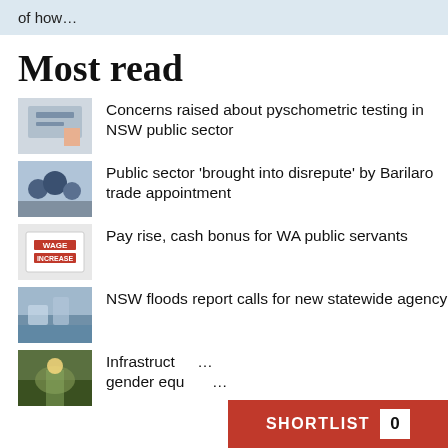of how…
Most read
Concerns raised about pyschometric testing in NSW public sector
Public sector 'brought into disrepute' by Barilaro trade appointment
Pay rise, cash bonus for WA public servants
NSW floods report calls for new statewide agency
Infrastructure… gender equ…